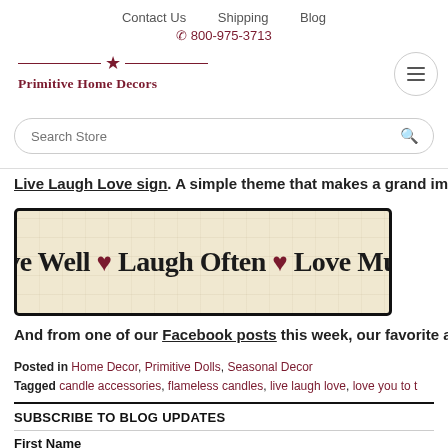Contact Us   Shipping   Blog
☎ 800-975-3713
[Figure (logo): Primitive Home Decors logo with star and horizontal rules]
Search Store
Live Laugh Love sign. A simple theme that makes a grand impres…
[Figure (photo): Decorative wooden sign reading: Live Well ♥ Laugh Often ♥ Love Much, with crackled cream background and dark border]
And from one of our Facebook posts this week, our favorite answ…
Posted in Home Decor, Primitive Dolls, Seasonal Decor
Tagged candle accessories, flameless candles, live laugh love, love you to t…
SUBSCRIBE TO BLOG UPDATES
First Name